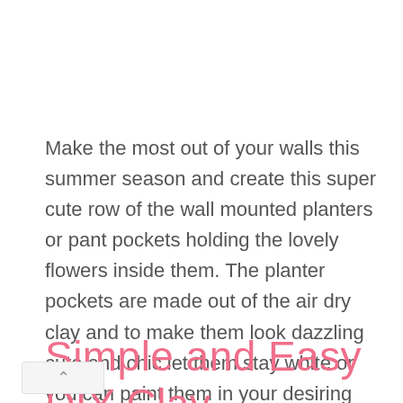Make the most out of your walls this summer season and create this super cute row of the wall mounted planters or pant pockets holding the lovely flowers inside them. The planter pockets are made out of the air dry clay and to make them look dazzling cute and chic let them stay white or you can paint them in your desiring shades for a really adorable summer look too. designlovefest
Simple and Easy DIY Clay